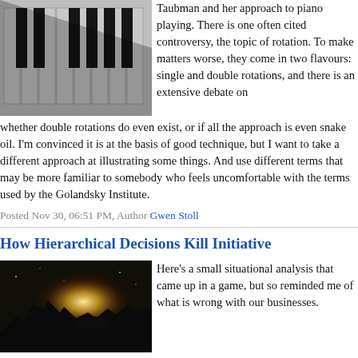[Figure (photo): Close-up photo of piano keys, black and white keys, angled view]
Taubman and her approach to piano playing. There is one often cited controversy, the topic of rotation. To make matters worse, they come in two flavours: single and double rotations, and there is an extensive debate on whether double rotations do even exist, or if all the approach is even snake oil. I'm convinced it is at the basis of good technique, but I want to take a different approach at illustrating some things. And use different terms that may be more familiar to somebody who feels uncomfortable with the terms used by the Golandsky Institute.
Posted Nov 30, 06:51 PM, Author Gwen Stoll
How Hierarchical Decisions Kill Initiative
[Figure (photo): Dark sci-fi image of a futuristic city or spacecraft silhouetted against a bright glowing light source in a dark sky]
Here's a small situational analysis that came up in a game, but so reminded me of what is wrong with our businesses.
Assume you're in a roleplay game...